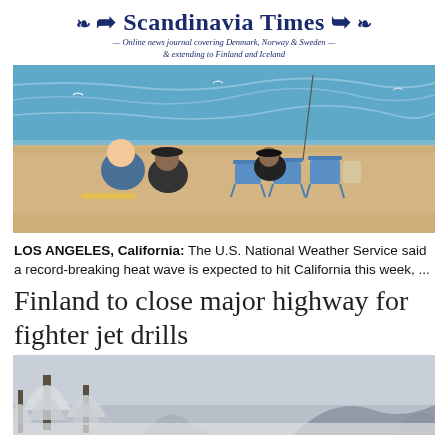Scandinavia Times — Online news journal covering Denmark, Norway & Sweden — & extending to Finland and Iceland
[Figure (photo): Beach scene with people sitting on beach chairs near the water on a sandy beach, blue water in background]
LOS ANGELES, California: The U.S. National Weather Service said a record-breaking heat wave is expected to hit California this week, ...
Finland to close major highway for fighter jet drills
[Figure (photo): Winter scene with snow-covered trees and grey sky, a wintry landscape in Finland]